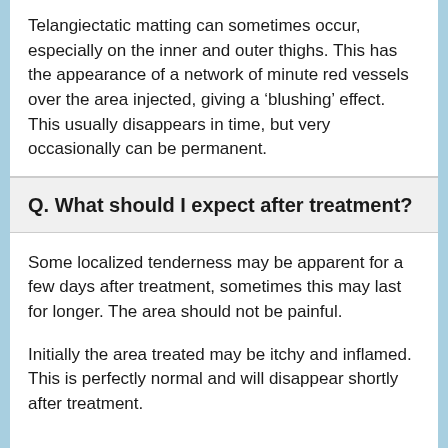Telangiectatic matting can sometimes occur, especially on the inner and outer thighs. This has the appearance of a network of minute red vessels over the area injected, giving a ‘blushing’ effect. This usually disappears in time, but very occasionally can be permanent.
Q. What should I expect after treatment?
Some localized tenderness may be apparent for a few days after treatment, sometimes this may last for longer. The area should not be painful.
Initially the area treated may be itchy and inflamed. This is perfectly normal and will disappear shortly after treatment.